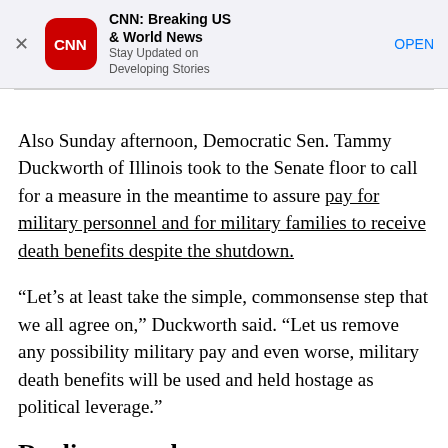[Figure (screenshot): CNN app advertisement banner with red rounded icon showing CNN logo, title 'CNN: Breaking US & World News', subtitle 'Stay Updated on Developing Stories', and OPEN button]
Also Sunday afternoon, Democratic Sen. Tammy Duckworth of Illinois took to the Senate floor to call for a measure in the meantime to assure pay for military personnel and for military families to receive death benefits despite the shutdown.
“Let’s at least take the simple, commonsense step that we all agree on,” Duckworth said. “Let us remove any possibility military pay and even worse, military death benefits will be used and held hostage as political leverage.”
Dueling speeches